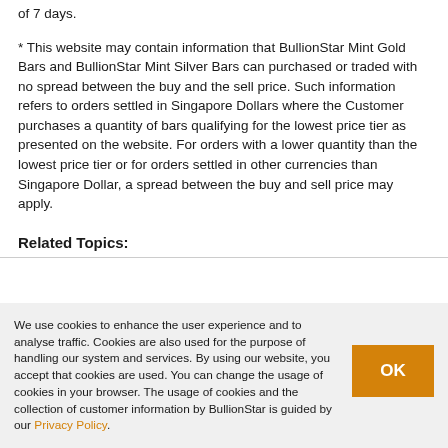of 7 days.
* This website may contain information that BullionStar Mint Gold Bars and BullionStar Mint Silver Bars can purchased or traded with no spread between the buy and the sell price. Such information refers to orders settled in Singapore Dollars where the Customer purchases a quantity of bars qualifying for the lowest price tier as presented on the website. For orders with a lower quantity than the lowest price tier or for orders settled in other currencies than Singapore Dollar, a spread between the buy and sell price may apply.
Related Topics:
We use cookies to enhance the user experience and to analyse traffic. Cookies are also used for the purpose of handling our system and services. By using our website, you accept that cookies are used. You can change the usage of cookies in your browser. The usage of cookies and the collection of customer information by BullionStar is guided by our Privacy Policy.